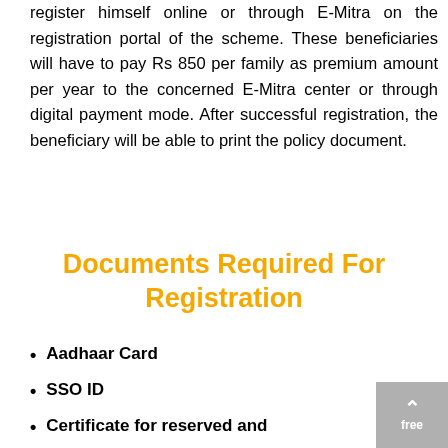register himself online or through E-Mitra on the registration portal of the scheme. These beneficiaries will have to pay Rs 850 per family as premium amount per year to the concerned E-Mitra center or through digital payment mode. After successful registration, the beneficiary will be able to print the policy document.
Documents Required For Registration
Aadhaar Card
SSO ID
Certificate for reserved and free category